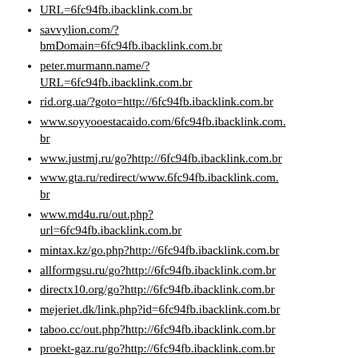URL=6fc94fb.ibacklink.com.br
savvylion.com/?bmDomain=6fc94fb.ibacklink.com.br
peter.murmann.name/?URL=6fc94fb.ibacklink.com.br
rid.org.ua/?goto=http://6fc94fb.ibacklink.com.br
www.soyyooestacaido.com/6fc94fb.ibacklink.com.br
www.justmj.ru/go?http://6fc94fb.ibacklink.com.br
www.gta.ru/redirect/www.6fc94fb.ibacklink.com.br
www.md4u.ru/out.php?url=6fc94fb.ibacklink.com.br
mintax.kz/go.php?http://6fc94fb.ibacklink.com.br
allformgsu.ru/go?http://6fc94fb.ibacklink.com.br
directx10.org/go?http://6fc94fb.ibacklink.com.br
mejeriet.dk/link.php?id=6fc94fb.ibacklink.com.br
taboo.cc/out.php?http://6fc94fb.ibacklink.com.br
proekt-gaz.ru/go?http://6fc94fb.ibacklink.com.br